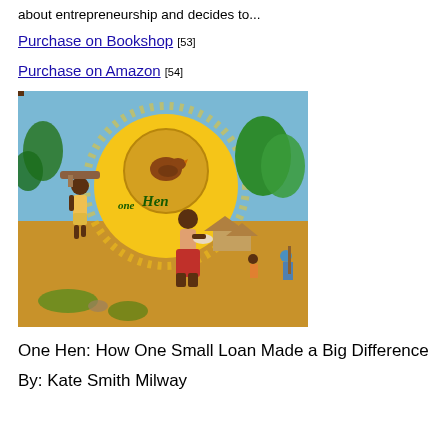about entrepreneurship and decides to...
Purchase on Bookshop [53]
Purchase on Amazon [54]
[Figure (photo): Book cover of 'One Hen' showing illustrated African village scene with a large sun, a hen, a woman carrying a bowl, a boy carrying wood on his head, and other figures in the background]
One Hen: How One Small Loan Made a Big Difference
By: Kate Smith Milway